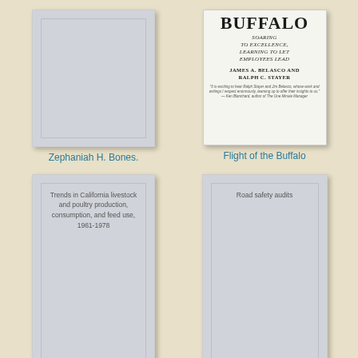[Figure (illustration): Book cover placeholder for Zephaniah H. Bones - gray cover]
Zephaniah H. Bones.
[Figure (illustration): Book cover for Flight of the Buffalo by James A. Belasco and Ralph C. Stayer]
Flight of the Buffalo
[Figure (illustration): Book cover for Trends in California livestock and poultry production, consumption, and feed use, 1961-1978]
Trends in California livestock and poultry production, consumption, and feed use, 1961-1978
[Figure (illustration): Book cover placeholder for Road safety audits - gray cover]
Road safety audits